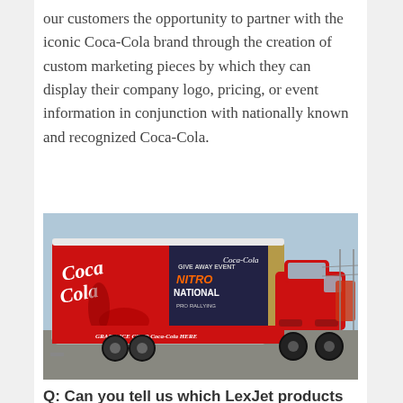our customers the opportunity to partner with the iconic Coca-Cola brand through the creation of custom marketing pieces by which they can display their company logo, pricing, or event information in conjunction with nationally known and recognized Coca-Cola.
[Figure (photo): A Coca-Cola branded trailer with red and white graphics including 'Coca-Cola' script logo, 'NITRO NATIONAL' event branding, and 'GRAB A ICE COLD Coca-Cola HERE' text, being pulled by a red pickup truck in a parking lot.]
Q: Can you tell us which LexJet products your company uses?